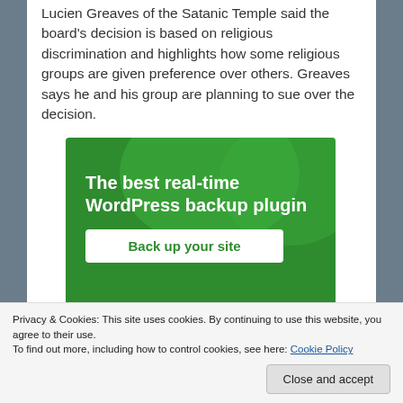Lucien Greaves of the Satanic Temple said the board's decision is based on religious discrimination and highlights how some religious groups are given preference over others. Greaves says he and his group are planning to sue over the decision.
[Figure (other): Advertisement banner for WordPress backup plugin with green background, decorative circles, bold white headline 'The best real-time WordPress backup plugin', and a white button reading 'Back up your site']
Privacy & Cookies: This site uses cookies. By continuing to use this website, you agree to their use. To find out more, including how to control cookies, see here: Cookie Policy
Close and accept